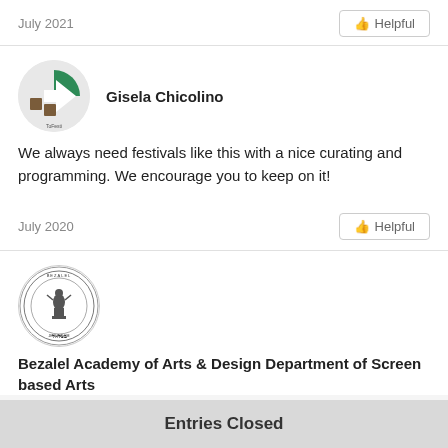July 2021
Helpful
[Figure (logo): ToFesti circular logo with green and brown geometric shapes]
Gisela Chicolino
We always need festivals like this with a nice curating and programming. We encourage you to keep on it!
July 2020
Helpful
[Figure (logo): Bezalel Academy of Arts & Design circular seal/emblem in black and white]
Bezalel Academy of Arts & Design Department of Screen based Arts
Entries Closed